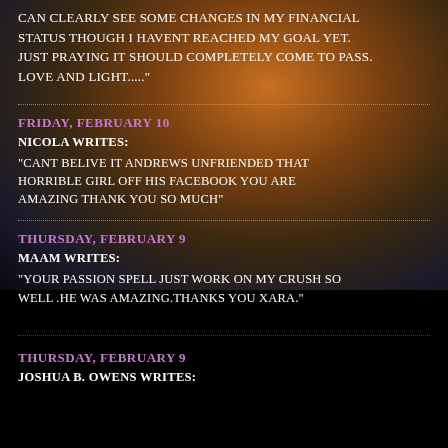CAN CLEARLY SEE SOME CHANGES IN MY FINANCIAL STATUS THOUGH I HAVENT REACHED MY GOAL YET. JUST PRAYING IT SHOULD COMPLETELY COME TO PASS. LOVE AND LIGHT....."
FRIDAY, FEBRUARY 10
NICOLA WRITES:
"CANT BELIVE IT ANDREWS UNFRIENDED THAT HORRIBLE GIRL OFF HIS FACEBOOK YOU ARE AMAZING THANK YOU SO MUCH"
THURSDAY, FEBRUARY 9
MAAM WRITES:
"YOUR PASSION SPELL JUST WORK ON MY CRUSH SO WELL .HE WAS AMAZING.THANKS YOU XARA."
THURSDAY, FEBRUARY 9
JOSHUA B. OWENS WRITES: